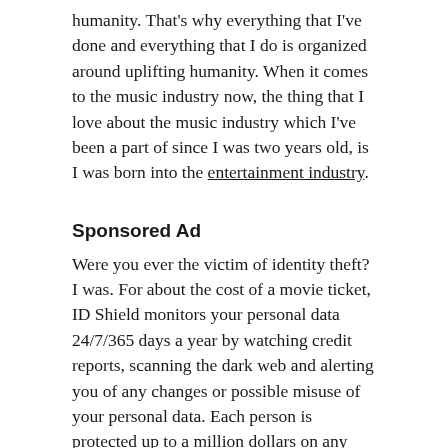humanity. That's why everything that I've done and everything that I do is organized around uplifting humanity. When it comes to the music industry now, the thing that I love about the music industry which I've been a part of since I was two years old, is I was born into the entertainment industry.
Sponsored Ad
Were you ever the victim of identity theft? I was. For about the cost of a movie ticket, ID Shield monitors your personal data 24/7/365 days a year by watching credit reports, scanning the dark web and alerting you of any changes or possible misuse of your personal data. Each person is protected up to a million dollars on any cost incurred as a result of identity theft. Get the Legal Shield mobile app to help you prepare your will, and other legal matters.